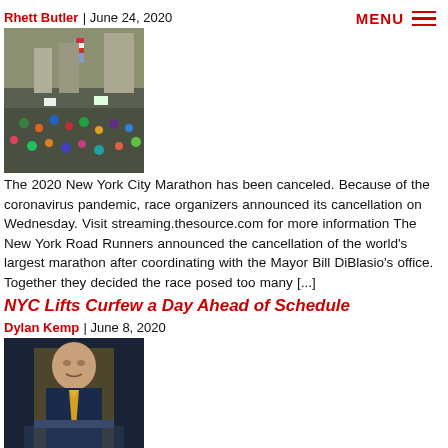Rhett Butler | June 24, 2020
MENU
[Figure (photo): Crowd of marathon runners on a city street with American flags and buildings in background]
The 2020 New York City Marathon has been canceled. Because of the coronavirus pandemic, race organizers announced its cancellation on Wednesday. Visit streaming.thesource.com for more information The New York Road Runners announced the cancellation of the world's largest marathon after coordinating with the Mayor Bill DiBlasio's office. Together they decided the race posed too many [...]
NYC Lifts Curfew a Day Ahead of Schedule
Dylan Kemp | June 8, 2020
[Figure (photo): Man in suit with yellow tie at a podium, appearing to be a press conference]